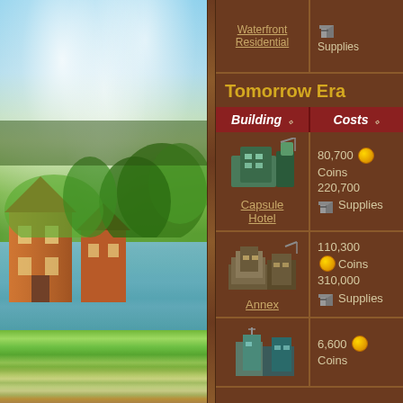[Figure (illustration): Fantasy landscape with medieval buildings, river, trees, and cloudy sky]
Waterfront Residential
Supplies
Tomorrow Era
| Building | Costs |
| --- | --- |
| Capsule Hotel | 80,700 Coins
220,700 Supplies |
| Annex | 110,300 Coins
310,000 Supplies |
| (third building) | 6,600 Coins |